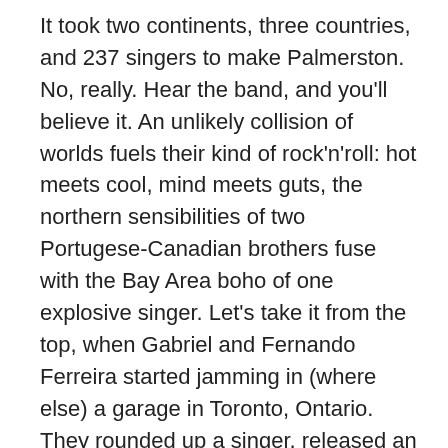It took two continents, three countries, and 237 singers to make Palmerston. No, really. Hear the band, and you'll believe it. An unlikely collision of worlds fuels their kind of rock'n'roll: hot meets cool, mind meets guts, the northern sensibilities of two Portugese-Canadian brothers fuse with the Bay Area boho of one explosive singer. Let's take it from the top, when Gabriel and Fernando Ferreira started jamming in (where else) a garage in Toronto, Ontario. They rounded up a singer, released an EP, and rolled through the narrow roads and massive festival stages of Europe. There was a Top 10 single on Portugese radio, tens of thousands of European fans, and opening slots for bands like Weezer and System of a Down. For less driven rockers, this might have been enough. But the Ferreira brothers needed to kick it up a notch; they needed a change of scene. In 2003, they packed their bags for Los Angeles. Their singer stayed